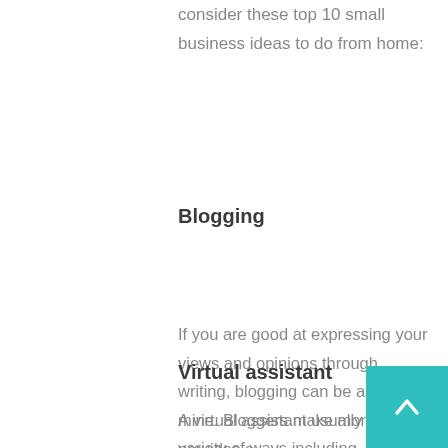consider these top 10 small business ideas to do from home:
Blogging
If you are good at expressing your views and opinions through writing, blogging can be a gold mine. Bloggers make money in a variety of ways including advertising and affiliate marketing. All you need to do is get traffic to your blog and you can make some money.
Virtual assistant
A virtual assistant usually provides a